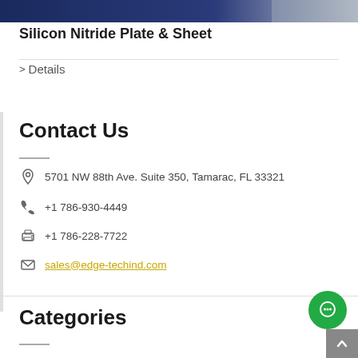[Figure (photo): Blue/dark colored product image strip at top of page]
Silicon Nitride Plate & Sheet
> Details
Contact Us
5701 NW 88th Ave. Suite 350, Tamarac, FL 33321
+1 786-930-4449
+1 786-228-7722
sales@edge-techind.com
Categories